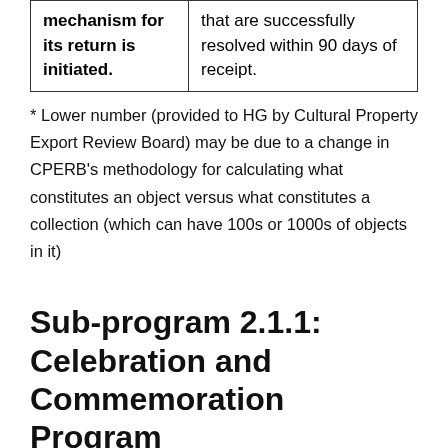| mechanism for its return is initiated. | that are successfully resolved within 90 days of receipt. |
* Lower number (provided to HG by Cultural Property Export Review Board) may be due to a change in CPERB's methodology for calculating what constitutes an object versus what constitutes a collection (which can have 100s or 1000s of objects in it)
Sub-program 2.1.1: Celebration and Commemoration Program